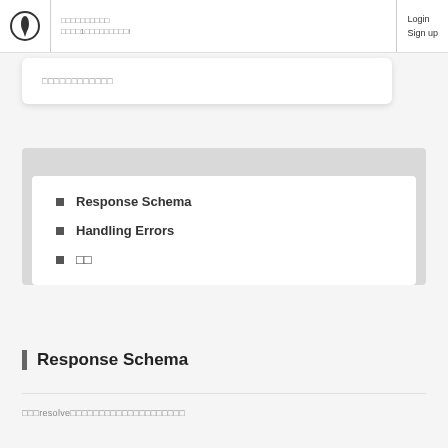Login  Sign up
□□□□□□□□□□□□
Response Schema
Handling Errors
□□
Response Schema
□□□resolve□□□□□□□□□□□□□□□□□□□□